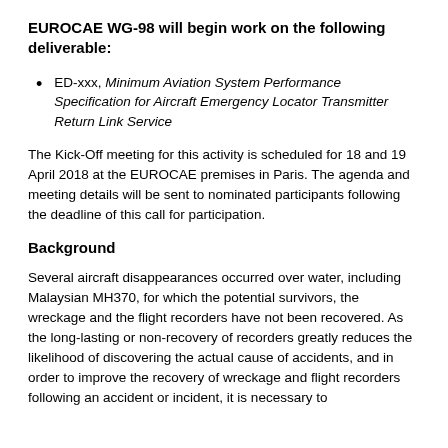EUROCAE WG-98 will begin work on the following deliverable:
ED-xxx, Minimum Aviation System Performance Specification for Aircraft Emergency Locator Transmitter Return Link Service
The Kick-Off meeting for this activity is scheduled for 18 and 19 April 2018 at the EUROCAE premises in Paris. The agenda and meeting details will be sent to nominated participants following the deadline of this call for participation.
Background
Several aircraft disappearances occurred over water, including Malaysian MH370, for which the potential survivors, the wreckage and the flight recorders have not been recovered. As the long-lasting or non-recovery of recorders greatly reduces the likelihood of discovering the actual cause of accidents, and in order to improve the recovery of wreckage and flight recorders following an accident or incident, it is necessary to